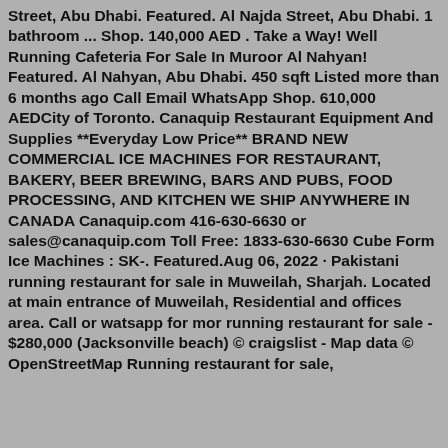Street, Abu Dhabi. Featured. Al Najda Street, Abu Dhabi. 1 bathroom ... Shop. 140,000 AED . Take a Way! Well Running Cafeteria For Sale In Muroor Al Nahyan! Featured. Al Nahyan, Abu Dhabi. 450 sqft Listed more than 6 months ago Call Email WhatsApp Shop. 610,000 AEDCity of Toronto. Canaquip Restaurant Equipment And Supplies **Everyday Low Price** BRAND NEW COMMERCIAL ICE MACHINES FOR RESTAURANT, BAKERY, BEER BREWING, BARS AND PUBS, FOOD PROCESSING, AND KITCHEN WE SHIP ANYWHERE IN CANADA Canaquip.com 416-630-6630 or sales@canaquip.com Toll Free: 1833-630-6630 Cube Form Ice Machines : SK-. Featured.Aug 06, 2022 · Pakistani running restaurant for sale in Muweilah, Sharjah. Located at main entrance of Muweilah, Residential and offices area. Call or watsapp for mor running restaurant for sale - $280,000 (Jacksonville beach) © craigslist - Map data © OpenStreetMap Running restaurant for sale,